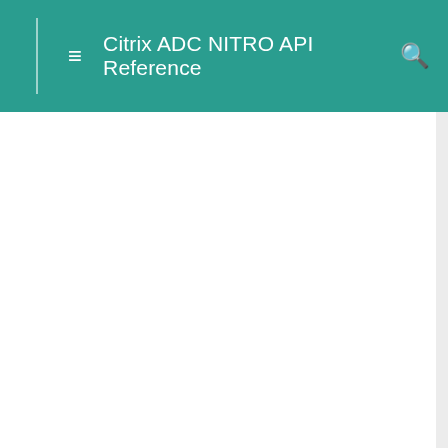Citrix ADC NITRO API Reference
| name | type | access |
| --- | --- | --- |
| requestmaxprocessingtime | <Double> | Read-only |